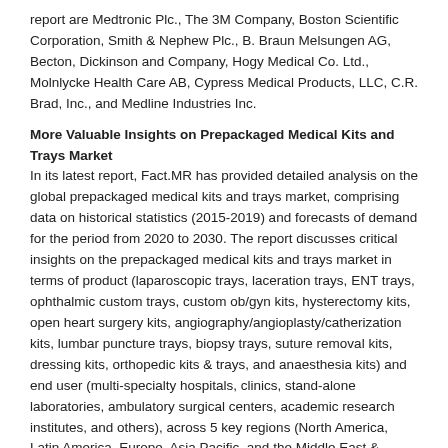report are Medtronic Plc., The 3M Company, Boston Scientific Corporation, Smith & Nephew Plc., B. Braun Melsungen AG, Becton, Dickinson and Company, Hogy Medical Co. Ltd., Molnlycke Health Care AB, Cypress Medical Products, LLC, C.R. Brad, Inc., and Medline Industries Inc.
More Valuable Insights on Prepackaged Medical Kits and Trays Market
In its latest report, Fact.MR has provided detailed analysis on the global prepackaged medical kits and trays market, comprising data on historical statistics (2015-2019) and forecasts of demand for the period from 2020 to 2030. The report discusses critical insights on the prepackaged medical kits and trays market in terms of product (laparoscopic trays, laceration trays, ENT trays, ophthalmic custom trays, custom ob/gyn kits, hysterectomy kits, open heart surgery kits, angiography/angioplasty/catherization kits, lumbar puncture trays, biopsy trays, suture removal kits, dressing kits, orthopedic kits & trays, and anaesthesia kits) and end user (multi-specialty hospitals, clinics, stand-alone laboratories, ambulatory surgical centers, academic research institutes, and others), across 5 key regions (North America, Latin America, Europe, Asia Pacific, and the Middle East & Africa).
For critical insights on this market, request for methodology here>>> https://www.factmr.com/connectus/sample?flag=RM&rep_id=5413
Fact.MR's Domain Knowledge in Healthcare
Our healthcare consulting team guides organizations at each step of their business